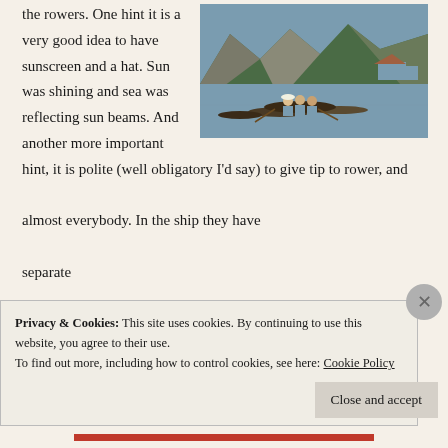the rowers. One hint it is a very good idea to have sunscreen and a hat. Sun was shining and sea was reflecting sun beams. And another more important hint, it is polite (well obligatory I'd say) to give tip to rower, and almost everybody. In the ship they have separate
[Figure (photo): Photo of Ha Long Bay style limestone karst mountains with boats on calm water. People in a rowboat in foreground wearing life jackets and hats. Floating houses visible on right. Clear blue sky.]
Privacy & Cookies: This site uses cookies. By continuing to use this website, you agree to their use. To find out more, including how to control cookies, see here: Cookie Policy
Close and accept